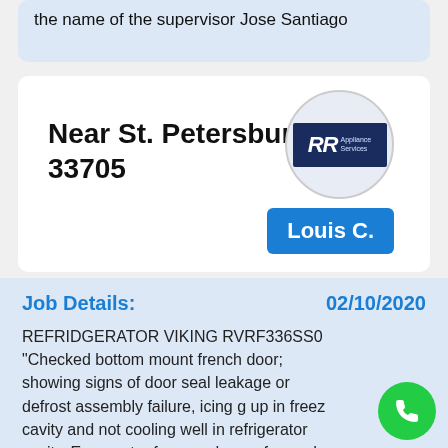the name of the supervisor Jose Santiago
[Figure (logo): RR Appliance Services logo inside a circle]
Near St. Petersburg, FL 33705
Louis C.
Job Details:
02/10/2020
REFRIDGERATOR VIKING RVRF336SS0 "Checked bottom mount french door; showing signs of door seal leakage or defrost assembly failure, icing g up in freez cavity and not cooling well in refrigerator cavity. Evaporator fan, condenser fan and